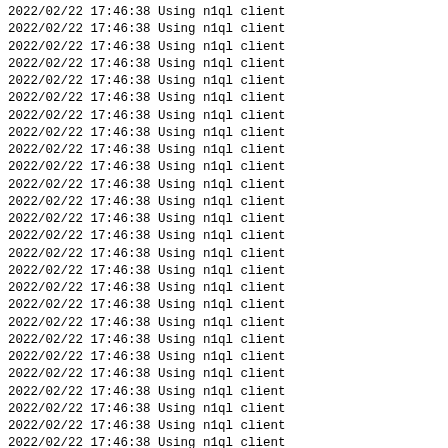2022/02/22 17:46:38 Using n1ql client (repeated 31 times, last line partially visible)